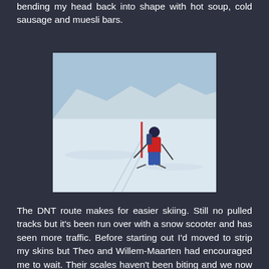bending my head back into shape with hot soup, cold sausage and muesli bars.
[Figure (photo): A skier in a red jacket and blue pants skiing on a snowy landscape with snow-covered hills in the background. A red pole is visible in the middle of the scene.]
The DNT route makes for easier skiing. Still no pulled tracks but it's been run over with a snow scooter and has seen more traffic. Before starting out I'd moved to strip my skins but Theo and Willem-Maarten had encouraged me to wait. Their scales haven't been biting and we now face a couple of hundred metres of climb. As a result I find myself still shuffling forwards on skins. My feet are still bothering me but